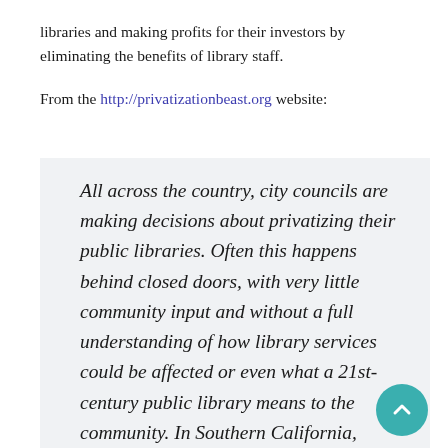libraries and making profits for their investors by eliminating the benefits of library staff.
From the http://privatizationbeast.org website:
All across the country, city councils are making decisions about privatizing their public libraries. Often this happens behind closed doors, with very little community input and without a full understanding of how library services could be affected or even what a 21st-century public library means to the community. In Southern California, public